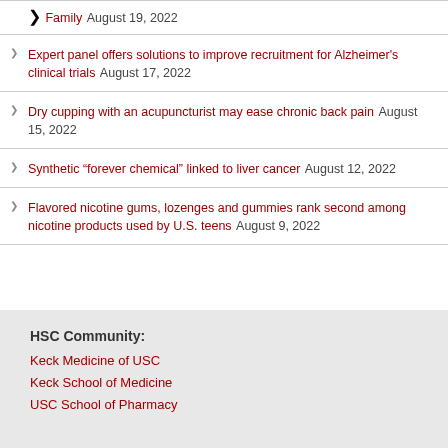Expert panel offers solutions to improve recruitment for Alzheimer's clinical trials August 17, 2022
Dry cupping with an acupuncturist may ease chronic back pain August 15, 2022
Synthetic “forever chemical” linked to liver cancer August 12, 2022
Flavored nicotine gums, lozenges and gummies rank second among nicotine products used by U.S. teens August 9, 2022
HSC Community:
Keck Medicine of USC
Keck School of Medicine
USC School of Pharmacy